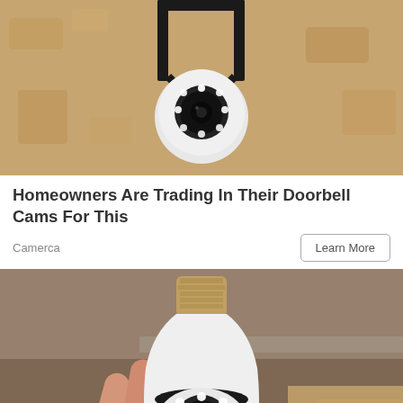[Figure (photo): A light-bulb-shaped security camera mounted in a black outdoor wall fixture, showing a white camera with circular LED ring, installed on a beige/tan stucco wall.]
Homeowners Are Trading In Their Doorbell Cams For This
Camerca
Learn More
[Figure (photo): A hand holding a white light-bulb-shaped security camera (with standard E27 screw base at top) showing its front face with a circular camera lens surrounded by LED lights, against a wooden shelf/cabinet background.]